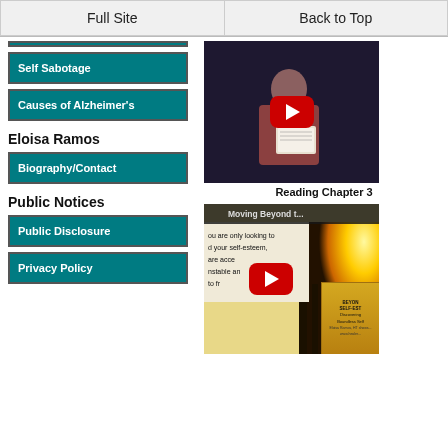Full Site | Back to Top
Self Sabotage
Causes of Alzheimer's
Eloisa Ramos
Biography/Contact
Public Notices
Public Disclosure
Privacy Policy
[Figure (screenshot): YouTube video thumbnail showing a person reading a document/book]
Reading Chapter 3
[Figure (screenshot): YouTube video thumbnail titled 'Moving Beyond t...' showing text about self-esteem and a book cover for 'Beyond Self-Esteem: Discovering Boundless Self']